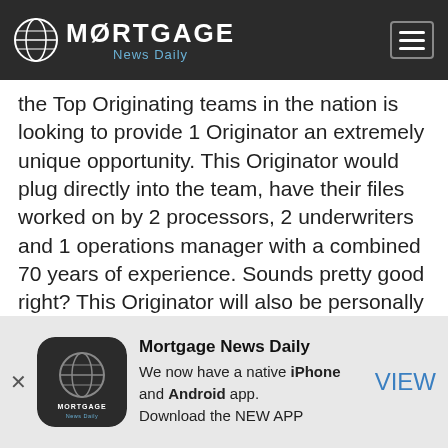Mortgage News Daily
the Top Originating teams in the nation is looking to provide 1 Originator an extremely unique opportunity. This Originator would plug directly into the team, have their files worked on by 2 processors, 2 underwriters and 1 operations manager with a combined 70 years of experience. Sounds pretty good right? This Originator will also be personally coached by one of the top producing Originators over the last decade. If you close $25M or more per year and are looking for a breakthrough in your career, contact Anjelica Nixt or click here to schedule a confidential
[Figure (logo): Mortgage News Daily app icon — globe logo with MORTGAGE text]
Mortgage News Daily
We now have a native iPhone and Android app.
Download the NEW APP